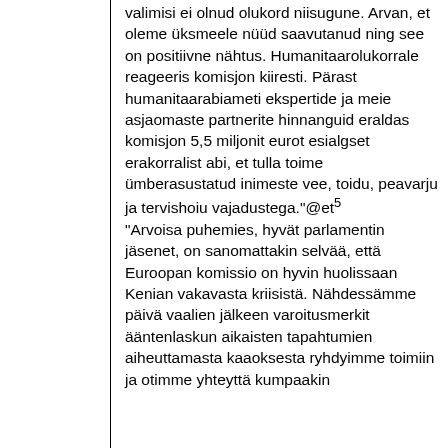valimisi ei olnud olukord niisugune. Arvan, et oleme üksmeele nüüd saavutanud ning see on positiivne nähtus. Humanitaarolukorrale reageeris komisjon kiiresti. Pärast humanitaarabiameti ekspertide ja meie asjaomaste partnerite hinnanguid eraldas komisjon 5,5 miljonit eurot esialgset erakorralist abi, et tulla toime ümberasustatud inimeste vee, toidu, peavarju ja tervishoiu vajadustega."@et⁵
"Arvoisa puhemies, hyvät parlamentin jäsenet, on sanomattakin selvää, että Euroopan komissio on hyvin huolissaan Kenian vakavasta kriisistä. Nähdessämme päivä vaalien jälkeen varoitusmerkit ääntenlaskun aikaisten tapahtumien aiheuttamasta kaaoksesta ryhdyimme toimiin ja otimme yhteyttä kumpaakin